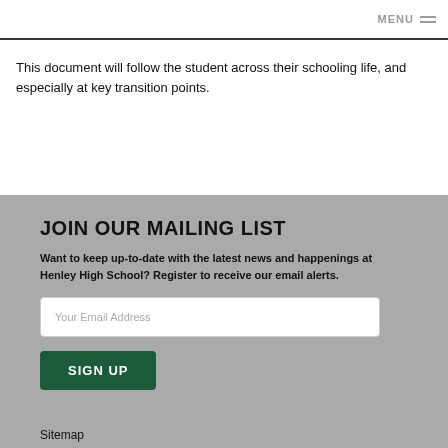MENU
This document will follow the student across their schooling life, and especially at key transition points.
JOIN OUR MAILING LIST
Want to keep up-to-date with the latest news and happenings at Henley High School? Register to receive our email alerts.
Your Email Address
SIGN UP
Sitemap